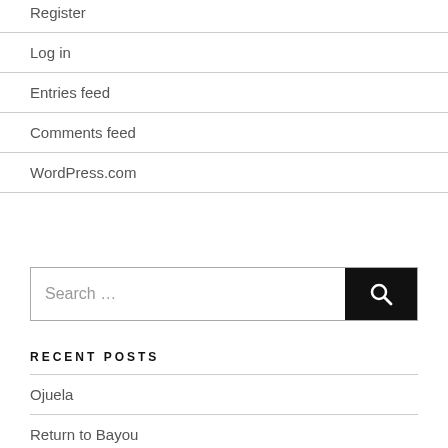Register
Log in
Entries feed
Comments feed
WordPress.com
[Figure (other): Search input box with a black search button containing a magnifying glass icon, placeholder text 'Search ...']
RECENT POSTS
Ojuela
Return to Bayou